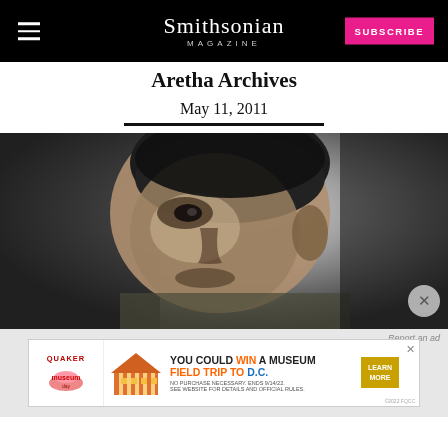Smithsonian Magazine — SUBSCRIBE
Aretha Archives
May 11, 2011
[Figure (photo): Black and white close-up portrait photo of a man looking upward to the left, three-quarter profile view]
[Figure (other): Quaker Museum Day advertisement banner: YOU COULD WIN A MUSEUM FIELD TRIP TO D.C. — LEARN MORE]